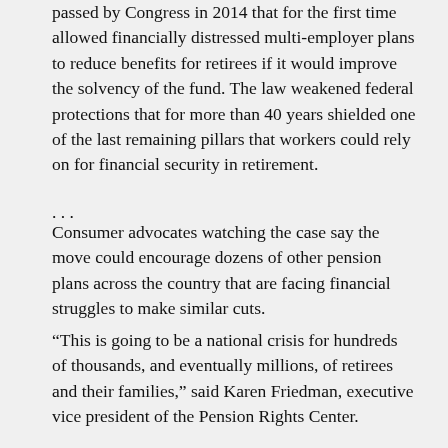passed by Congress in 2014 that for the first time allowed financially distressed multi-employer plans to reduce benefits for retirees if it would improve the solvency of the fund. The law weakened federal protections that for more than 40 years shielded one of the last remaining pillars that workers could rely on for financial security in retirement.
. . .
Consumer advocates watching the case say the move could encourage dozens of other pension plans across the country that are facing financial struggles to make similar cuts.
“This is going to be a national crisis for hundreds of thousands, and eventually millions, of retirees and their families,” said Karen Friedman, executive vice president of the Pension Rights Center.